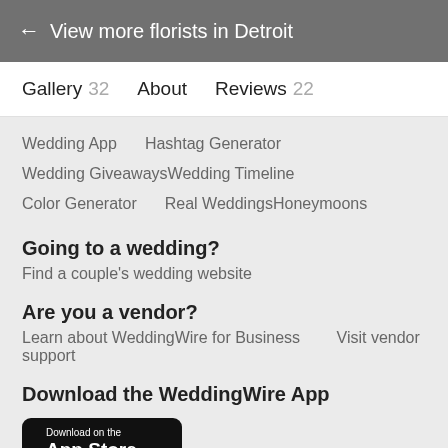← View more florists in Detroit
Gallery 32   About   Reviews 22
Wedding App   Hashtag Generator   Wedding Giveaways   Wedding Timeline   Color Generator   Real Weddings   Honeymoons
Going to a wedding?
Find a couple's wedding website
Are you a vendor?
Learn about WeddingWire for Business   Visit vendor support
Download the WeddingWire App
[Figure (screenshot): Download on the App Store button (black rounded rectangle with Apple logo)]